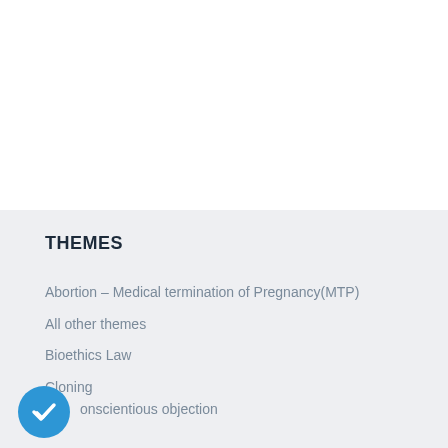THEMES
Abortion – Medical termination of Pregnancy(MTP)
All other themes
Bioethics Law
Cloning
Conscientious objection